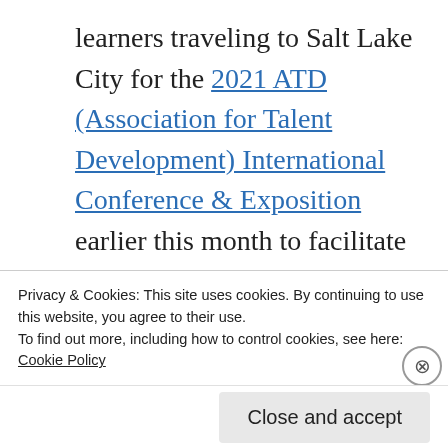learners traveling to Salt Lake City for the 2021 ATD (Association for Talent Development) International Conference & Exposition earlier this month to facilitate their first onsite learning sessions since the pandemic began. What they found was a dynamic, much-changed learning environment grounded in social-distancing practices that required a bit of pivoting to keep their sessions highly-interactive and engaging. Join us for this discussion of what trainer, teacher, learners need
Privacy & Cookies: This site uses cookies. By continuing to use this website, you agree to their use.
To find out more, including how to control cookies, see here: Cookie Policy
Close and accept